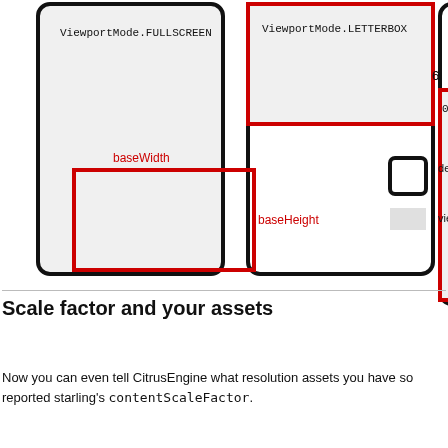[Figure (illustration): Diagram showing ViewportMode.FULLSCREEN (large box with gray fill) and ViewportMode.LETTERBOX (box with red-bordered gray area at top and white area below), and a partially visible third box with '6' label and '0,0' annotation. Below the boxes is a legend showing a thick-bordered box labeled 'device screen' and a gray rectangle labeled 'viewport/starling stage area'. A red-outlined rectangle with labels 'baseWidth' and 'baseHeight' is shown separately.]
Scale factor and your assets
Now you can even tell CitrusEngine what resolution assets you have so reported starling's contentScaleFactor.